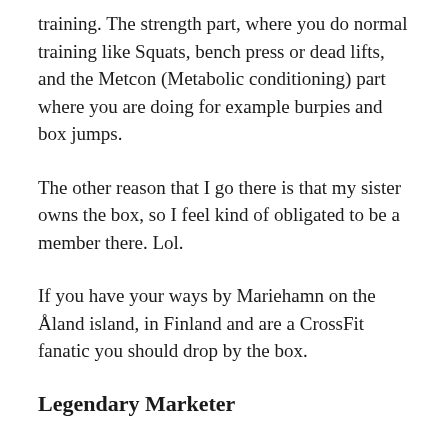training. The strength part, where you do normal training like Squats, bench press or dead lifts, and the Metcon (Metabolic conditioning) part where you are doing for example burpies and box jumps.
The other reason that I go there is that my sister owns the box, so I feel kind of obligated to be a member there. Lol.
If you have your ways by Mariehamn on the Åland island, in Finland and are a CrossFit fanatic you should drop by the box.
Legendary Marketer